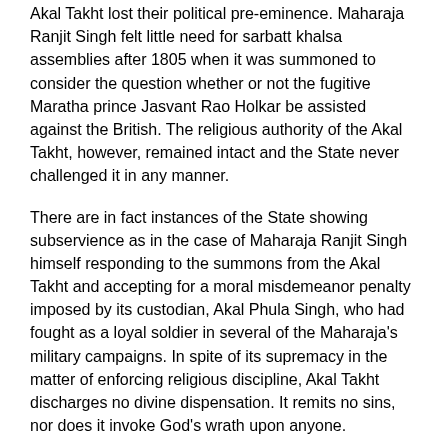Akal Takht lost their political pre-eminence. Maharaja Ranjit Singh felt little need for sarbatt khalsa assemblies after 1805 when it was summoned to consider the question whether or not the fugitive Maratha prince Jasvant Rao Holkar be assisted against the British. The religious authority of the Akal Takht, however, remained intact and the State never challenged it in any manner.
There are in fact instances of the State showing subservience as in the case of Maharaja Ranjit Singh himself responding to the summons from the Akal Takht and accepting for a moral misdemeanor penalty imposed by its custodian, Akal Phula Singh, who had fought as a loyal soldier in several of the Maharaja's military campaigns. In spite of its supremacy in the matter of enforcing religious discipline, Akal Takht discharges no divine dispensation. It remits no sins, nor does it invoke God's wrath upon anyone.
On several occasions during the eighteenth century, Akal Takht shared with the Harimandar desecration and destruction at the hands of Mughal satraps and Afghan invaders. Ahmad Shah Durrani, who had razed the Harimandar in 1762, again attacked Amritsar in December 1764. On this occasion a small band of 30 Sikhs under their leader, Nihang Gurbakhsh Singh stationed there to serve and protect the Akal Takht, came out to dare the invading horde and fell fighting to the last man. Ahmad Shah had the Akal Bunga completely demolished. Sikhs, however, continued to hold the sarbatt khalsa in front of the ruins and decided at one such gathering on Baisakhi, 10 April 1765, to rebuild the Akal Bunga as well as the